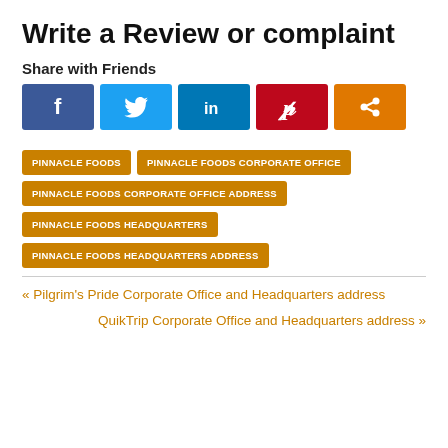Write a Review or complaint
Share with Friends
[Figure (infographic): Social share buttons: Facebook (blue), Twitter (light blue), LinkedIn (dark blue), Pinterest (red), Share (orange)]
PINNACLE FOODS
PINNACLE FOODS CORPORATE OFFICE
PINNACLE FOODS CORPORATE OFFICE ADDRESS
PINNACLE FOODS HEADQUARTERS
PINNACLE FOODS HEADQUARTERS ADDRESS
« Pilgrim's Pride Corporate Office and Headquarters address
QuikTrip Corporate Office and Headquarters address »